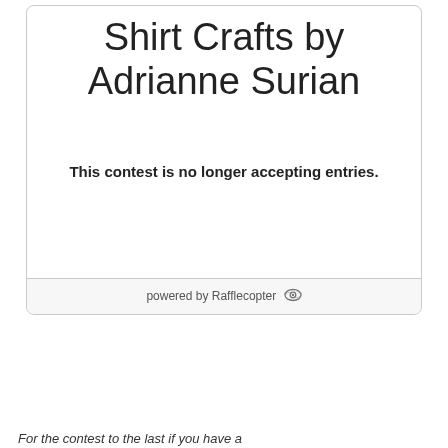Shirt Crafts by Adrianne Surian
This contest is no longer accepting entries.
powered by Rafflecopter